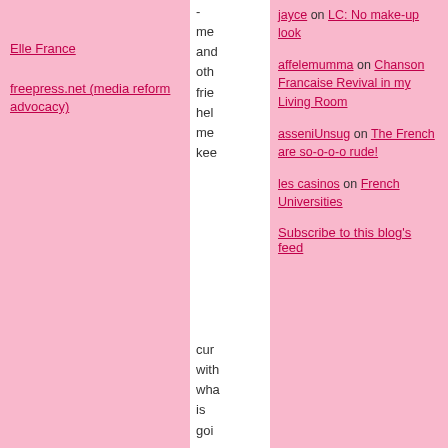Elle France
freepress.net (media reform advocacy)
me and oth frie hel me kee
affelemumma on Chanson Francaise Revival in my Living Room
asseniUnsug on The French are so-o-o-o rude!
les casinos on French Universities
Subscribe to this blog's feed
cur with wha is goi on in Fra